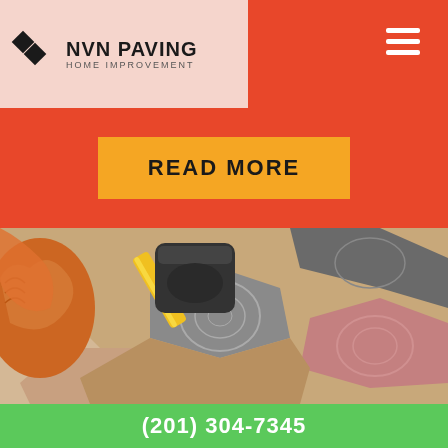NVN PAVING HOME IMPROVEMENT
d offer you the best
[Figure (logo): NVN Paving Home Improvement logo with diamond/chevron icon]
[Figure (other): Hamburger menu icon (three white horizontal bars)]
READ MORE
[Figure (photo): Worker in orange gloves using a rubber mallet hammer to set hexagonal paving stones of grey, pink and tan colors into sand]
(201) 304-7345